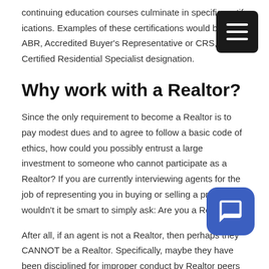continuing education courses culminate in specific certifications. Examples of these certifications would be the ABR, Accredited Buyer's Representative or CRS, the Certified Residential Specialist designation.
Why work with a Realtor?
Since the only requirement to become a Realtor is to pay modest dues and to agree to follow a basic code of ethics, how could you possibly entrust a large investment to someone who cannot participate as a Realtor? If you are currently interviewing agents for the job of representing you in buying or selling a property wouldn't it be smart to simply ask: Are you a Realtor?
After all, if an agent is not a Realtor, then perhaps they CANNOT be a Realtor. Specifically, maybe they have been disciplined for improper conduct by Realtor peers and are no